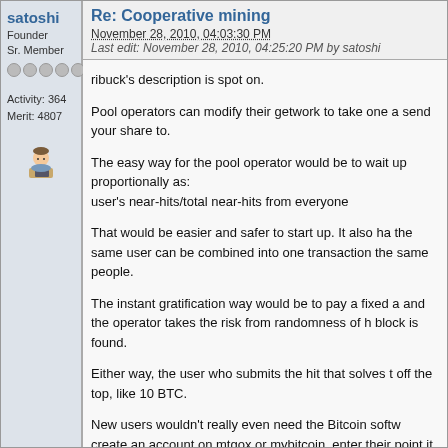satoshi
Founder
Sr. Member
Activity: 364
Merit: 4807
[Figure (illustration): Forum user avatar icon showing a person at a desk]
Re: Cooperative mining
November 28, 2010, 04:03:30 PM
Last edit: November 28, 2010, 04:25:20 PM by satoshi
ribuck's description is spot on.
Pool operators can modify their getwork to take one a send your share to.
The easy way for the pool operator would be to wait up proportionally as:
user's near-hits/total near-hits from everyone
That would be easier and safer to start up.  It also ha the same user can be combined into one transaction the same people.
The instant gratification way would be to pay a fixed a and the operator takes the risk from randomness of h block is found.
Either way, the user who submits the hit that solves t off the top, like 10 BTC.
New users wouldn't really even need the Bitcoin softw create an account on mtgox or mybitcoin, enter their point it at anyone's pool server.  When the miner say